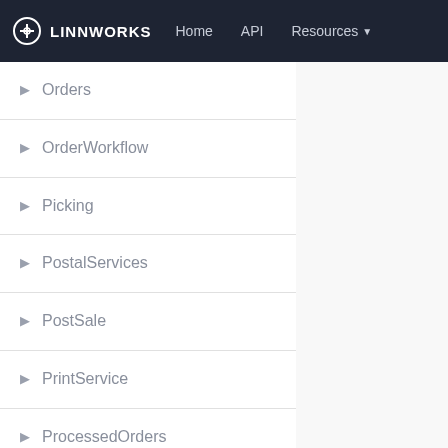LINNWORKS  Home  API  Resources
Orders
OrderWorkflow
Picking
PostalServices
PostSale
PrintService
ProcessedOrders